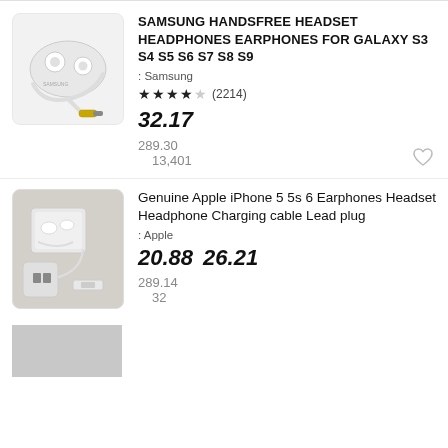[Figure (photo): White Samsung earphones/headset with 3.5mm jack connector on light background]
SAMSUNG HANDSFREE HEADSET HEADPHONES EARPHONES FOR GALAXY S3 S4 S5 S6 S7 S8 S9
: Samsung
★★★★☆ (2214)
32.17
289.30
13,401
[Figure (photo): Apple iPhone earphones, charging cable, and plug adapter on wooden surface]
Genuine Apple iPhone 5 5s 6 Earphones Headset Headphone Charging cable Lead plug
: Apple
20.88   26.21
289.14
32
[Figure (photo): Partially visible third product image at bottom of page]